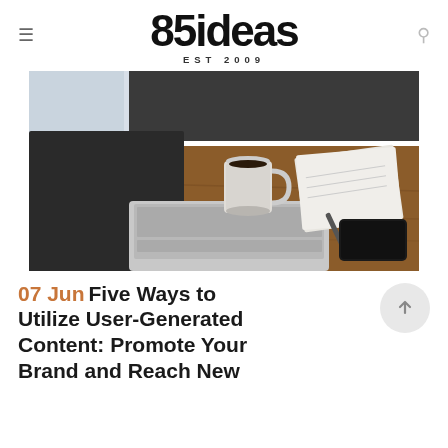85ideas EST 2009
[Figure (photo): Overhead view of a wooden desk with a laptop, coffee mug, notepad with pen, and a smartphone]
07 Jun Five Ways to Utilize User-Generated Content: Promote Your Brand and Reach New